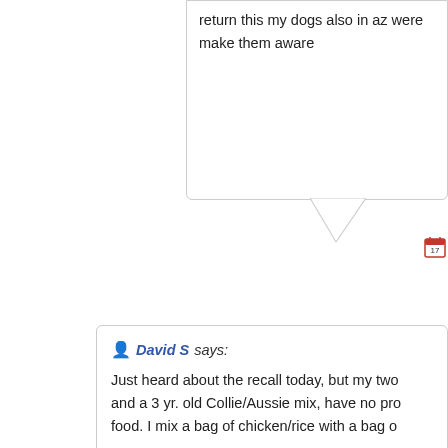return this my dogs also in az were make them aware
David S says: Just heard about the recall today, but my two and a 3 yr. old Collie/Aussie mix, have no pro food. I mix a bag of chicken/rice with a bag o
Carol says: My dog (11 years old) ate Nature's Domain ( liver enzymes were off the charts. Two mont support drugs, plus ultrasound... I took her